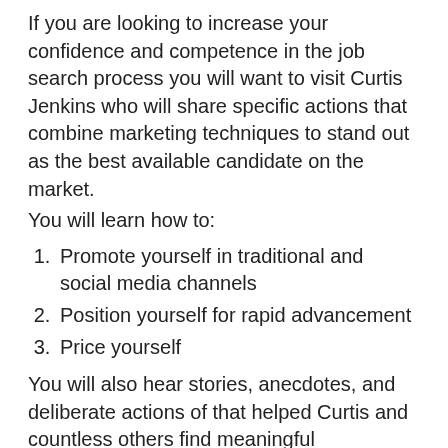If you are looking to increase your confidence and competence in the job search process you will want to visit Curtis Jenkins who will share specific actions that combine marketing techniques to stand out as the best available candidate on the market.
You will learn how to:
Promote yourself in traditional and social media channels
Position yourself for rapid advancement
Price yourself
You will also hear stories, anecdotes, and deliberate actions of that helped Curtis and countless others find meaningful employment and grow in their careers.
You will walk away with an understanding on how to market yourself using the same techniques major companies use to sell